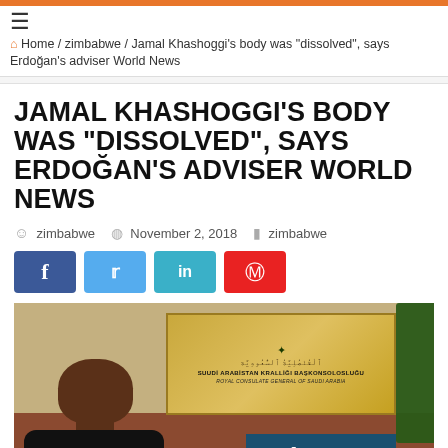☰ Home / zimbabwe / Jamal Khashoggi's body was "dissolved", says Erdoğan's adviser World News
JAMAL KHASHOGGI'S BODY WAS "DISSOLVED", SAYS ERDOĞAN'S ADVISER WORLD NEWS
zimbabwe  November 2, 2018  zimbabwe
[Figure (photo): Photo outside the Royal Consulate General of Saudi Arabia building with a man in black walking in front of the plaque, with The Guardian watermark overlay]